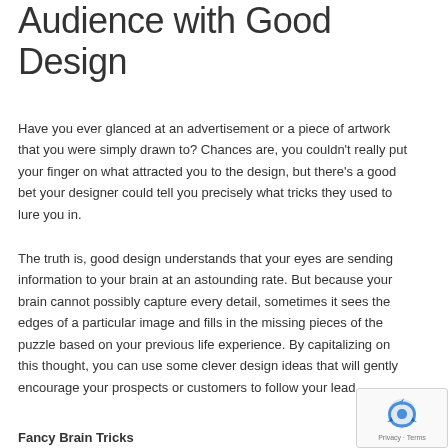Audience with Good Design
Have you ever glanced at an advertisement or a piece of artwork that you were simply drawn to? Chances are, you couldn't really put your finger on what attracted you to the design, but there's a good bet your designer could tell you precisely what tricks they used to lure you in.
The truth is, good design understands that your eyes are sending information to your brain at an astounding rate. But because your brain cannot possibly capture every detail, sometimes it sees the edges of a particular image and fills in the missing pieces of the puzzle based on your previous life experience. By capitalizing on this thought, you can use some clever design ideas that will gently encourage your prospects or customers to follow your lead.
Fancy Brain Tricks